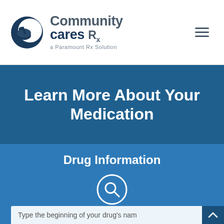[Figure (logo): Community Cares Rx logo — mortar and pestle inside a crescent circle, with text 'Community cares Rx — a Paramount Rx Solution']
Learn More About Your Medication
Drug Information
[Figure (other): Search icon circle (magnifying glass) for drug lookup]
Type the beginning of your drug's nam